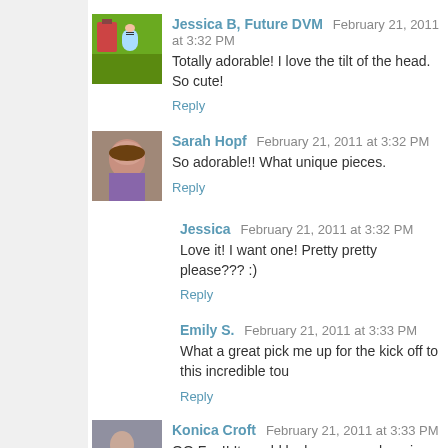[Figure (photo): Avatar: pixel art illustration of a girl in blue dress on farm background]
Jessica B, Future DVM  February 21, 2011 at 3:32 PM
Totally adorable! I love the tilt of the head. So cute!
Reply
[Figure (photo): Avatar: photo of Sarah Hopf, a woman]
Sarah Hopf  February 21, 2011 at 3:32 PM
So adorable!! What unique pieces.
Reply
Jessica  February 21, 2011 at 3:32 PM
Love it! I want one! Pretty pretty please??? :)
Reply
Emily S.  February 21, 2011 at 3:33 PM
What a great pick me up for the kick off to this incredible tou
Reply
[Figure (photo): Avatar: photo of Konica Croft with people]
Konica Croft  February 21, 2011 at 3:33 PM
OO Fun!! It would look awesome hanging off my new Ipad k